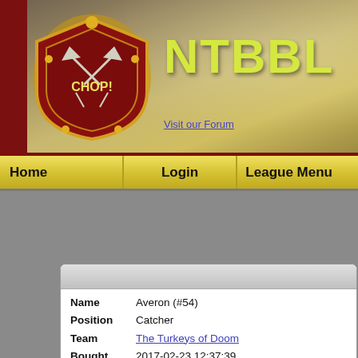[Figure (logo): CHOP! shield logo with axes, gold border, dark red background]
NTBBL
Visit our Forum
Home | Login | League Menu
| Field | Value |
| --- | --- |
| Name | Averon (#54) |
| Position | Catcher |
| Team | The Turkeys of Doom |
| Bought | 2017-02-23 12:37:39 |
| Status | None |
| Value | 170k |
| SPP/extra | 54/0 |
| Wanted | No |
Picture o